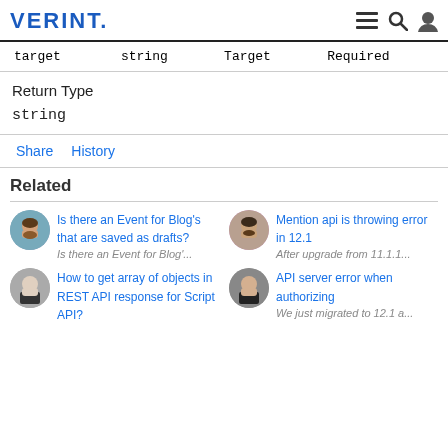VERINT.
| target | string | Target | Required |
| --- | --- | --- | --- |
Return Type
string
Share   History
Related
Is there an Event for Blog's that are saved as drafts?
Is there an Event for Blog'...
Mention api is throwing error in 12.1
After upgrade from 11.1.1...
How to get array of objects in REST API response for Script API?
API server error when authorizing
We just migrated to 12.1 a...